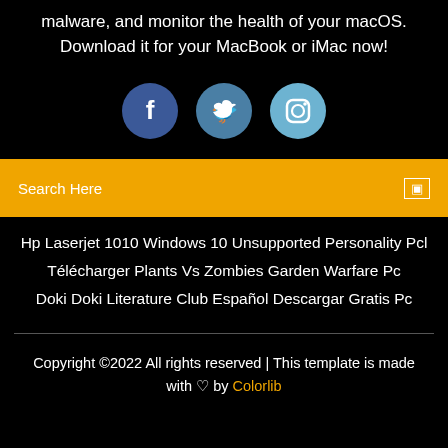malware, and monitor the health of your macOS. Download it for your MacBook or iMac now!
[Figure (illustration): Three social media icon circles: Facebook (dark blue), Twitter (medium blue), Instagram (light blue), each with white icons]
Search Here
Hp Laserjet 1010 Windows 10 Unsupported Personality Pcl
Télécharger Plants Vs Zombies Garden Warfare Pc
Doki Doki Literature Club Español Descargar Gratis Pc
Copyright ©2022 All rights reserved | This template is made with ♡ by Colorlib